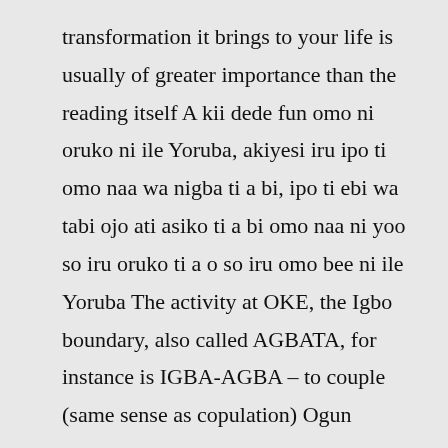transformation it brings to your life is usually of greater importance than the reading itself A kii dede fun omo ni oruko ni ile Yoruba, akiyesi iru ipo ti omo naa wa nigba ti a bi, ipo ti ebi wa tabi ojo ati asiko ti a bi omo naa ni yoo so iru oruko ti a o so iru omo bee ni ile Yoruba The activity at OKE, the Igbo boundary, also called AGBATA, for instance is IGBA-AGBA – to couple (same sense as copulation) Ogun